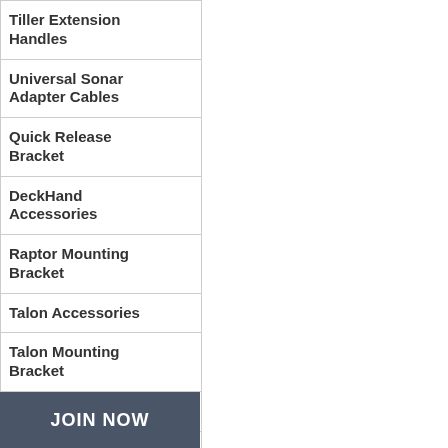Tiller Extension Handles
Universal Sonar Adapter Cables
Quick Release Bracket
DeckHand Accessories
Raptor Mounting Bracket
Talon Accessories
Talon Mounting Bracket
Marine Accessories
Battery Accessories
JOIN NOW